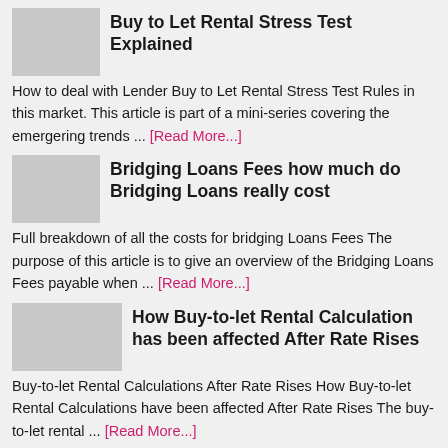Buy to Let Rental Stress Test Explained
How to deal with Lender Buy to Let Rental Stress Test Rules in this market. This article is part of a mini-series covering the emergering trends ... [Read More...]
Bridging Loans Fees how much do Bridging Loans really cost
Full breakdown of all the costs for bridging Loans Fees The purpose of this article is to give an overview of the Bridging Loans Fees payable when ... [Read More...]
How Buy-to-let Rental Calculation has been affected After Rate Rises
Buy-to-let Rental Calculations After Rate Rises How Buy-to-let Rental Calculations have been affected After Rate Rises The buy-to-let rental ... [Read More...]